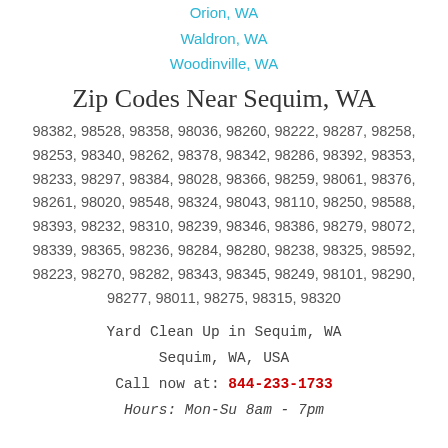Orion, WA
Waldron, WA
Woodinville, WA
Zip Codes Near Sequim, WA
98382, 98528, 98358, 98036, 98260, 98222, 98287, 98258, 98253, 98340, 98262, 98378, 98342, 98286, 98392, 98353, 98233, 98297, 98384, 98028, 98366, 98259, 98061, 98376, 98261, 98020, 98548, 98324, 98043, 98110, 98250, 98588, 98393, 98232, 98310, 98239, 98346, 98386, 98279, 98072, 98339, 98365, 98236, 98284, 98280, 98238, 98325, 98592, 98223, 98270, 98282, 98343, 98345, 98249, 98101, 98290, 98277, 98011, 98275, 98315, 98320
Yard Clean Up in Sequim, WA
Sequim, WA, USA
Call now at: 844-233-1733
Hours: Mon-Su 8am - 7pm